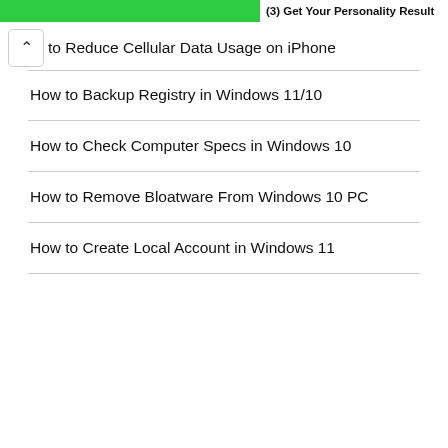[Figure (screenshot): Green button at top left and bold text reading (3) Get Your Personality Result at top right]
to Reduce Cellular Data Usage on iPhone
How to Backup Registry in Windows 11/10
How to Check Computer Specs in Windows 10
How to Remove Bloatware From Windows 10 PC
How to Create Local Account in Windows 11